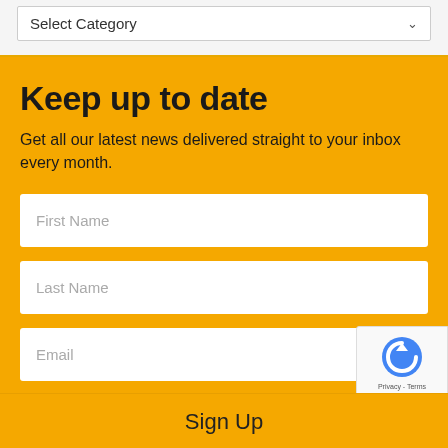[Figure (screenshot): Dropdown select field with 'Select Category' placeholder and a chevron arrow on the right, on a light gray background with an orange/gold bottom border.]
Keep up to date
Get all our latest news delivered straight to your inbox every month.
First Name
Last Name
Email
Sign Up